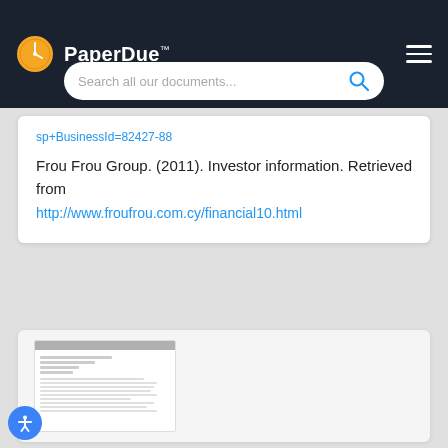PaperDue™
sp+BusinessId=82427-88
Frou Frou Group. (2011). Investor information. Retrieved from
http://www.froufrou.com.cy/financial10.html
[Figure (screenshot): Document preview thumbnail showing a multi-page academic document with header and bulleted text lines]